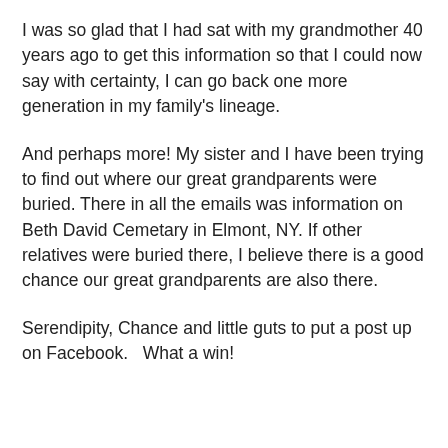I was so glad that I had sat with my grandmother 40 years ago to get this information so that I could now say with certainty, I can go back one more generation in my family’s lineage.
And perhaps more! My sister and I have been trying to find out where our great grandparents were buried. There in all the emails was information on Beth David Cemetary in Elmont, NY. If other relatives were buried there, I believe there is a good chance our great grandparents are also there.
Serendipity, Chance and little guts to put a post up on Facebook.   What a win!